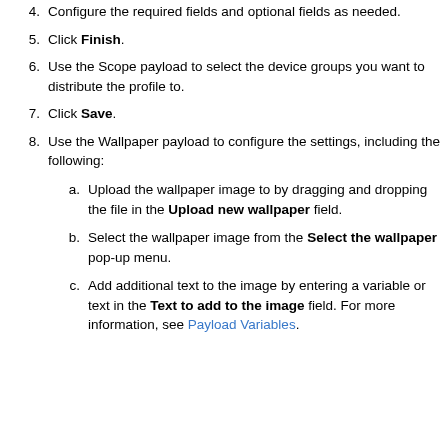Configure the required fields and optional fields as needed.
Click Finish.
Use the Scope payload to select the device groups you want to distribute the profile to.
Click Save.
Use the Wallpaper payload to configure the settings, including the following:
Upload the wallpaper image to by dragging and dropping the file in the Upload new wallpaper field.
Select the wallpaper image from the Select the wallpaper pop-up menu.
Add additional text to the image by entering a variable or text in the Text to add to the image field. For more information, see Payload Variables.